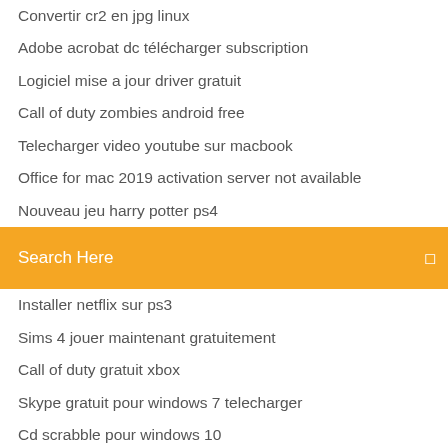Convertir cr2 en jpg linux
Adobe acrobat dc télécharger subscription
Logiciel mise a jour driver gratuit
Call of duty zombies android free
Telecharger video youtube sur macbook
Office for mac 2019 activation server not available
Nouveau jeu harry potter ps4
Search Here
Installer netflix sur ps3
Sims 4 jouer maintenant gratuitement
Call of duty gratuit xbox
Skype gratuit pour windows 7 telecharger
Cd scrabble pour windows 10
Telecharger logiciel formatage disque dur externe
Nfs most wanted apk 2019
Bus simulator pro 2019 apkhere
Call of duty black ops 2 mac os
Free adobe flash player télécharger for windows 7